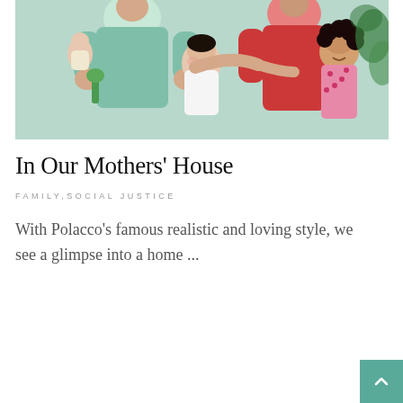[Figure (illustration): Book cover illustration showing adults and children together — a person in teal shirt holding a baby, another adult in red shirt, and two children, one with curly hair, in a warm family scene with colorful painted style]
In Our Mothers' House
FAMILY,SOCIAL JUSTICE
With Polacco's famous realistic and loving style, we see a glimpse into a home ...